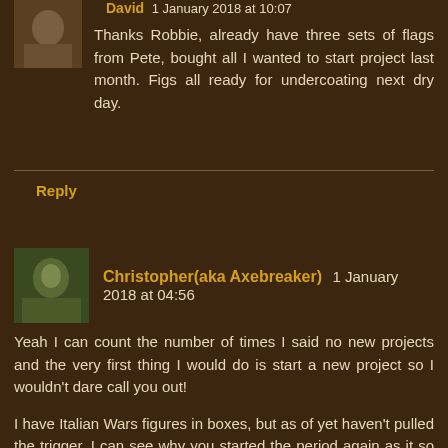Thanks Robbie, already have three sets of flags from Pete, bought all I wanted to start project last month. Figs all ready for undercoating next dry day.
Reply
Christopher(aka Axebreaker) 1 January 2018 at 04:56
Yeah I can count the number of times I said no new projects and the very first thing I would do is start a new project so I wouldn't dare call you out!
I have Italian Wars figures in boxes, but as of yet haven't pulled the trigger. I can see why you started the period again as it so many aspects to draw a hobbyist in with beautiful color, different arms and introduction of new weapons makes it a fascinating spectacle on the tabletop and interesting to paint. However it is a difficult period to tackle with all the different colors involved and is what